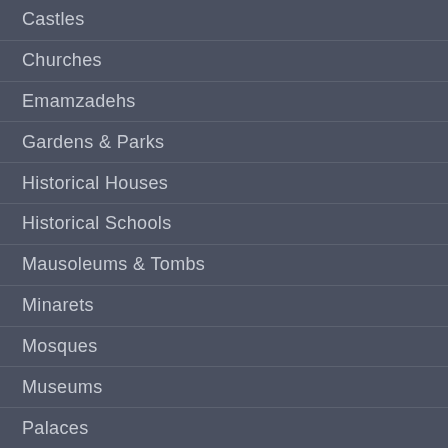Castles
Churches
Emamzadehs
Gardens & Parks
Historical Houses
Historical Schools
Mausoleums & Tombs
Minarets
Mosques
Museums
Palaces